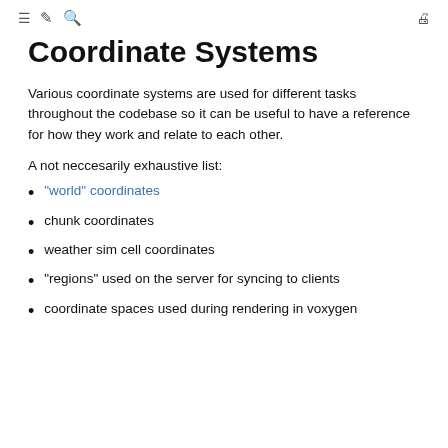≡  ╱  🔍  🖨
Coordinate Systems
Various coordinate systems are used for different tasks throughout the codebase so it can be useful to have a reference for how they work and relate to each other.
A not neccesarily exhaustive list:
"world" coordinates
chunk coordinates
weather sim cell coordinates
"regions" used on the server for syncing to clients
coordinate spaces used during rendering in voxygen